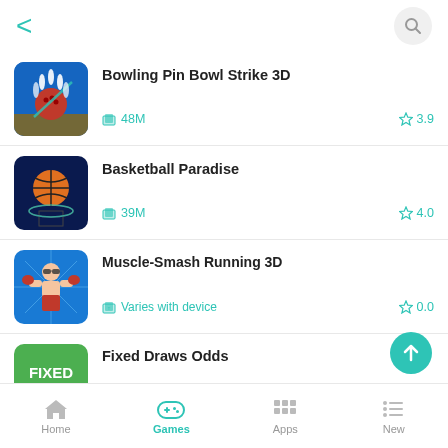[Figure (screenshot): Mobile app store list screen with back arrow and search icon at top]
Bowling Pin Bowl Strike 3D
48M   3.9
Basketball Paradise
39M   4.0
Muscle-Smash Running 3D
Varies with device   0.0
Fixed Draws Odds
Home   Games   Apps   New